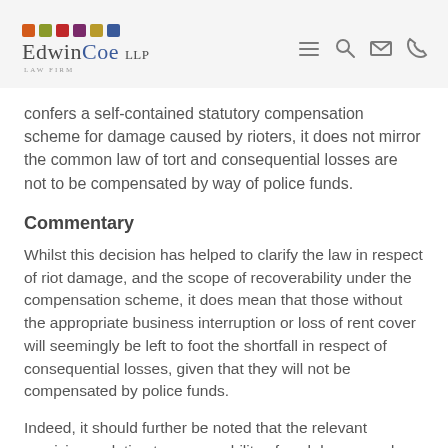Edwin Coe LLP Law Firm
confers a self-contained statutory compensation scheme for damage caused by rioters, it does not mirror the common law of tort and consequential losses are not to be compensated by way of police funds.
Commentary
Whilst this decision has helped to clarify the law in respect of riot damage, and the scope of recoverability under the compensation scheme, it does mean that those without the appropriate business interruption or loss of rent cover will seemingly be left to foot the shortfall in respect of consequential losses, given that they will not be compensated by police funds.
Indeed, it should further be noted that the relevant provisions relating to recoverability of such losses under the new Riot Compensation Act 2016, which received Royal Assent in March 2016, shall come into force on a date to be appointed by the Secretary of State. As well as repealing the 1886 Act, it will also expressly provide that